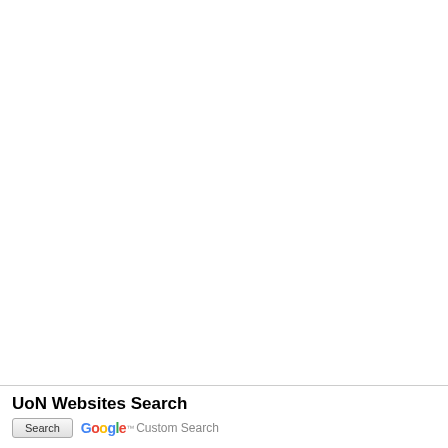UoN Websites Search
[Figure (screenshot): A Google Custom Search box with a Search button and 'Google Custom Search' branding label to its right.]